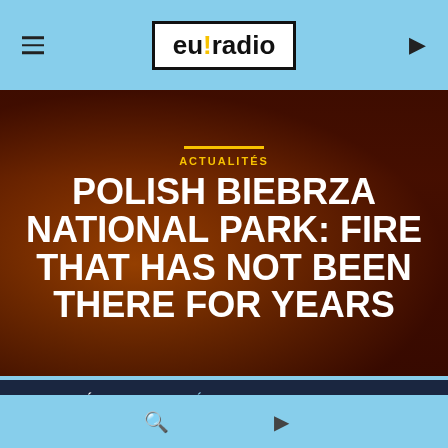eu!radio
ACTUALITÉS
POLISH BIEBRZA NATIONAL PARK: FIRE THAT HAS NOT BEEN THERE FOR YEARS
ÉCRIT PAR LA RÉDACTION SUR 29 AVRIL 2020
🔍 ▶